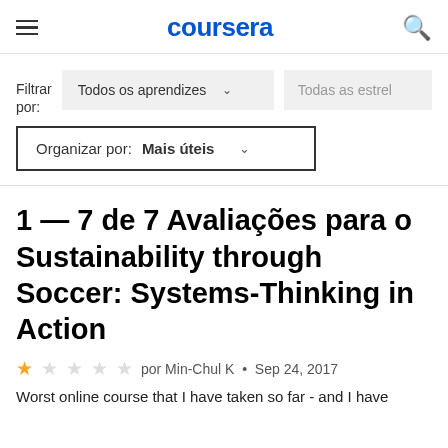coursera
Filtrar por: Todos os aprendizes ∨   Todas as estrel
Organizar por: Mais úteis ∨
1 — 7 de 7 Avaliações para o Sustainability through Soccer: Systems-Thinking in Action
★☆☆☆☆ por Min-Chul K • Sep 24, 2017
Worst online course that I have taken so far - and I have